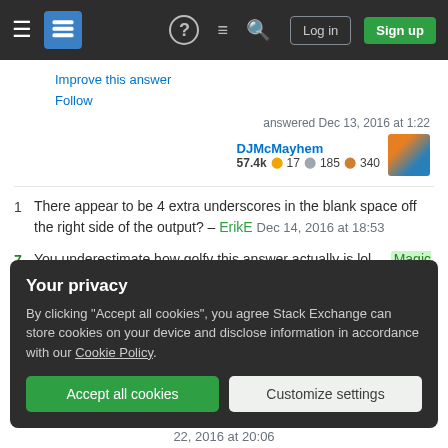Stack Exchange navigation bar with hamburger menu, logo, help, chat, search icons, Log in and Sign up buttons
Improve this answer
Follow
answered Dec 13, 2016 at 1:22
DJMcMayhem 57.4k 17 185 340
1 There appear to be 4 extra underscores in the blank space off the right side of the output? – ErikE Dec 14, 2016 at 18:53
7 You underestimate how golfy this answer actually is lol. – Magic Octopus Urn Dec 16, 2016 at 17:56
Your privacy
By clicking "Accept all cookies", you agree Stack Exchange can store cookies on your device and disclose information in accordance with our Cookie Policy.
Accept all cookies
Customize settings
22, 2016 at 20:06